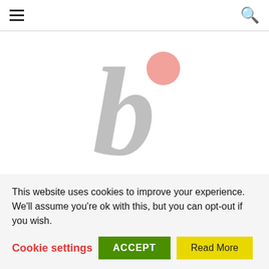≡  🔍
[Figure (logo): Bonsai Today logo: large italic lowercase 'b' in gray with a pink circle dot above it, styled as a decorative letter mark]
BONSAI TODAY
Online magazine for Bonsai lovers
This website uses cookies to improve your experience. We'll assume you're ok with this, but you can opt-out if you wish.
Cookie settings  ACCEPT  Read More